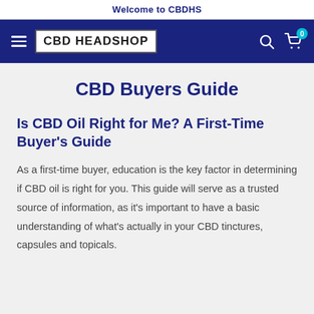Welcome to CBDHS
[Figure (logo): CBD Headshop navigation bar with hamburger menu, CBD HEADSHOP logo in white box, search icon, and cart icon with 0 badge on dark blue background]
CBD Buyers Guide
Is CBD Oil Right for Me? A First-Time Buyer's Guide
As a first-time buyer, education is the key factor in determining if CBD oil is right for you. This guide will serve as a trusted source of information, as it's important to have a basic understanding of what's actually in your CBD tinctures, capsules and topicals.